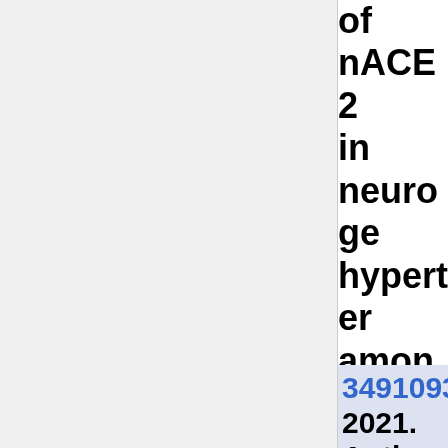of nACE2 in neurogenic hypertension among COVID-19 patients.
34910934 2021. Antigenic...